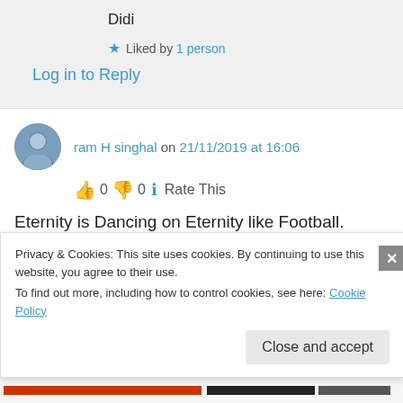Didi
★ Liked by 1 person
Log in to Reply
ram H singhal on 21/11/2019 at 16:06
👍 0 👎 0 ℹ Rate This
Eternity is Dancing on Eternity like Football. Every Atom is AT OM only , that is Micro vision to Macro Vision.
Privacy & Cookies: This site uses cookies. By continuing to use this website, you agree to their use.
To find out more, including how to control cookies, see here: Cookie Policy
Close and accept